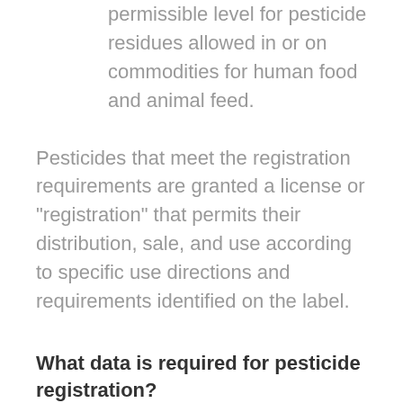permissible level for pesticide residues allowed in or on commodities for human food and animal feed.
Pesticides that meet the registration requirements are granted a license or "registration" that permits their distribution, sale, and use according to specific use directions and requirements identified on the label.
What data is required for pesticide registration?
In evaluating a pesticide registration application, EPA assesses a wide variety of potential human health and environmental effects associated with use of the product. The producer of the pesticide must provide data